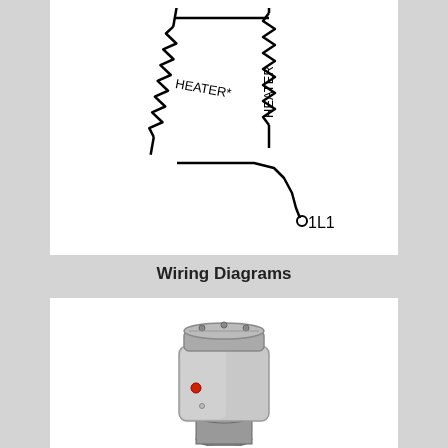[Figure (schematic): Electrical schematic showing two heater resistor symbols labeled HEATER* and HEATER, connected in series, with terminal labeled 1L1 at the bottom right]
Wiring Diagrams
[Figure (photo): Photograph of a metallic heater/sensor device — a square silver-colored metal housing with a red indicator dot and a small indicator on the front face, mounted on a cylindrical base fitting, with a circular top cap featuring bolt holes]